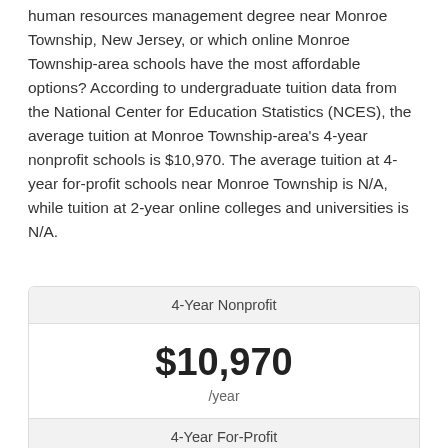human resources management degree near Monroe Township, New Jersey, or which online Monroe Township-area schools have the most affordable options? According to undergraduate tuition data from the National Center for Education Statistics (NCES), the average tuition at Monroe Township-area's 4-year nonprofit schools is $10,970. The average tuition at 4-year for-profit schools near Monroe Township is N/A, while tuition at 2-year online colleges and universities is N/A.
| 4-Year Nonprofit |  |
| --- | --- |
| $10,970 | /year |
| 4-Year For-Profit |
| --- |